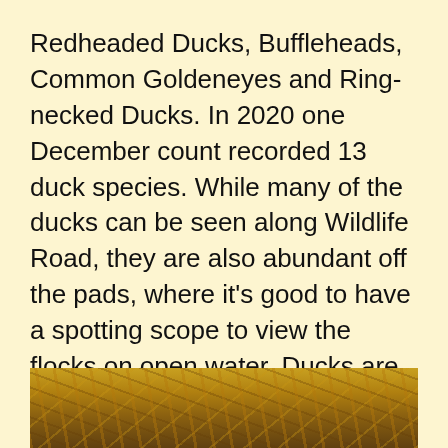Redheaded Ducks, Buffleheads, Common Goldeneyes and Ring-necked Ducks. In 2020 one December count recorded 13 duck species. While many of the ducks can be seen along Wildlife Road, they are also abundant off the pads, where it's good to have a spotting scope to view the flocks on open water. Ducks are also common in Mineral Marsh and on Deaver Pond.
So, enjoy the geese—but keep your eye out for their colorful cousins. Soon you'll find yourself calling out, “Duck! Duck!” And, of course, “Goose.”
[Figure (photo): Bottom portion of a nature photograph showing autumn foliage with golden and brown tones, possibly tall grasses or leaves.]